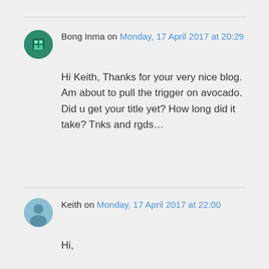Bong Inma on Monday, 17 April 2017 at 20:29
Hi Keith, Thanks for your very nice blog. Am about to pull the trigger on avocado. Did u get your title yet? How long did it take? Tnks and rgds…
Keith on Monday, 17 April 2017 at 22:00
Hi,
Yes, we got our title last November.